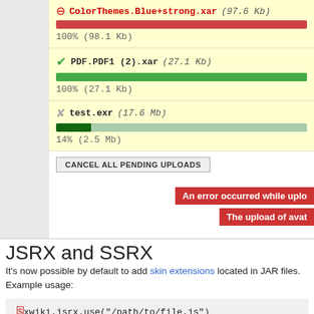[Figure (screenshot): Upload manager UI showing three file uploads: ColorThemes.Blue+strong.xar (97.6 Kb) at 100% with red error icon and red progress bar; PDF.PDF1 (2).xar (27.1 Kb) at 100% with green checkmark and green progress bar; test.exr (17.6 Mb) at 14% with spinning icon and dark green partial progress bar. A 'CANCEL ALL PENDING UPLOADS' button is shown. Two red error banners partially visible: 'An error occurred while uplo...' and 'The upload of avat...']
JSRX and SSRX
It's now possible by default to add skin extensions located in JAR files. Example usage:
$xwiki.jsrx.use("/path/to/file.js")
$xwiki.ssrx.use("/path/to/file.css")